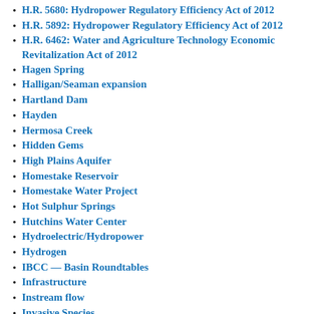H.R. 5680: Hydropower Regulatory Efficiency Act of 2012
H.R. 5892: Hydropower Regulatory Efficiency Act of 2012
H.R. 6462: Water and Agriculture Technology Economic Revitalization Act of 2012
Hagen Spring
Halligan/Seaman expansion
Hartland Dam
Hayden
Hermosa Creek
Hidden Gems
High Plains Aquifer
Homestake Reservoir
Homestake Water Project
Hot Sulphur Springs
Hutchins Water Center
Hydroelectric/Hydropower
Hydrogen
IBCC — Basin Roundtables
Infrastructure
Instream flow
Invasive Species
Jackson Gulch
Kremmling
La Plata River
Lake County
Lake Powell Pipeline